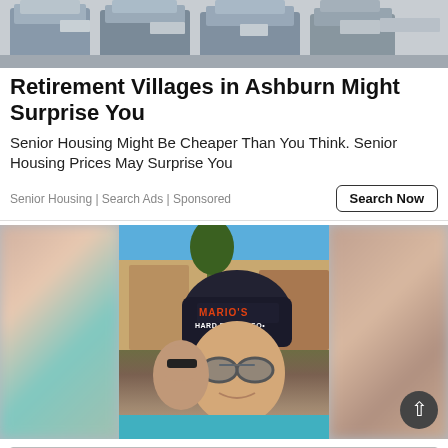[Figure (photo): Aerial view of residential houses and streets, used as advertisement banner image]
Retirement Villages in Ashburn Might Surprise You
Senior Housing Might Be Cheaper Than You Think. Senior Housing Prices May Surprise You
Senior Housing | Search Ads | Sponsored
[Figure (photo): Selfie photo of a man wearing sunglasses and a dark cap reading 'MARIO'S HARD ESPRESSO', poolside with a woman in background, blurred edges]
[Figure (infographic): Advertisement banner: 'Looking for work or a new career? August 25, 11AM - 3PM. Featuring 25+ Exhibitors and Growing! CLICK HERE']